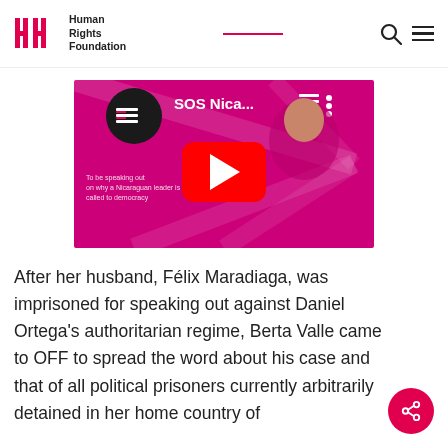Human Rights Foundation
[Figure (screenshot): YouTube video thumbnail showing a woman and 'SOS Nica...' text on a pink/magenta background with YouTube play button overlay]
After her husband, Félix Maradiaga, was imprisoned for speaking out against Daniel Ortega's authoritarian regime, Berta Valle came to OFF to spread the word about his case and that of all political prisoners currently arbitrarily detained in her home country of